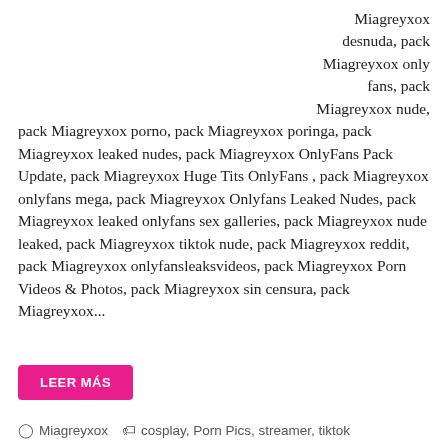Miagreyxox desnuda, pack Miagreyxox only fans, pack Miagreyxox nude, pack Miagreyxox porno, pack Miagreyxox poringa, pack Miagreyxox leaked nudes, pack Miagreyxox OnlyFans Pack Update, pack Miagreyxox Huge Tits OnlyFans , pack Miagreyxox onlyfans mega, pack Miagreyxox Onlyfans Leaked Nudes, pack Miagreyxox leaked onlyfans sex galleries, pack Miagreyxox nude leaked, pack Miagreyxox tiktok nude, pack Miagreyxox reddit, pack Miagreyxox onlyfansleaksvideos, pack Miagreyxox Porn Videos & Photos, pack Miagreyxox sin censura, pack Miagreyxox...
LEER MÁS
Miagreyxox   cosplay, Porn Pics, streamer, tiktok